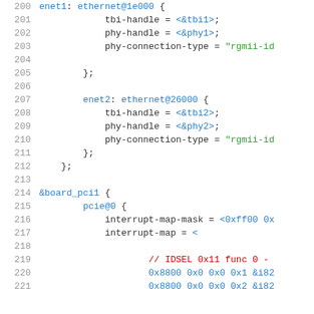[Figure (screenshot): Source code listing showing device tree configuration for ethernet and PCI board nodes, with line numbers 200-221. Lines include tbi-handle, phy-handle, phy-connection-type properties for enet1 and enet2 ethernet nodes, and board_pci1 with pcie@0 interrupt-map-mask and interrupt-map configuration.]